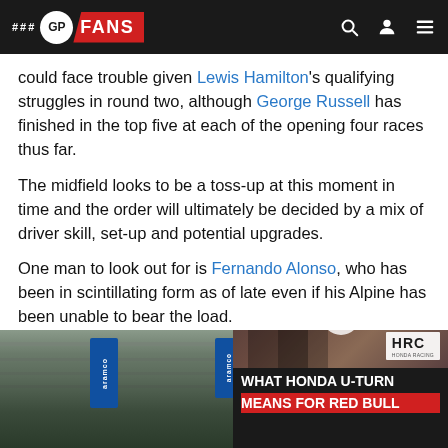GP FANS
could face trouble given Lewis Hamilton's qualifying struggles in round two, although George Russell has finished in the top five at each of the opening four races thus far.
The midfield looks to be a toss-up at this moment in time and the order will ultimately be decided by a mix of driver skill, set-up and potential upgrades.
One man to look out for is Fernando Alonso, who has been in scintillating form as of late even if his Alpine has been unable to bear the load.
Where can we see overtaking?
[Figure (photo): Aramco-sponsored fence at a Formula 1 circuit]
[Figure (screenshot): Video thumbnail showing people at a race paddock with HRC branding, titled 'WHAT HONDA U-TURN MEANS FOR RED BULL']